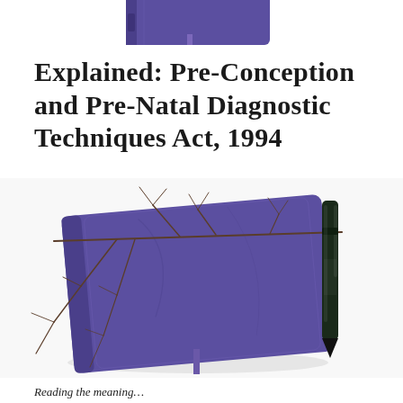[Figure (photo): Partial view of a purple leather-bound notebook visible at the top of the page, cropped]
Explained: Pre-Conception and Pre-Natal Diagnostic Techniques Act, 1994
[Figure (photo): A purple leather notebook with dried branches/twigs laid across it and a black pen/marker to the right, on a white background]
Reading the meaning...